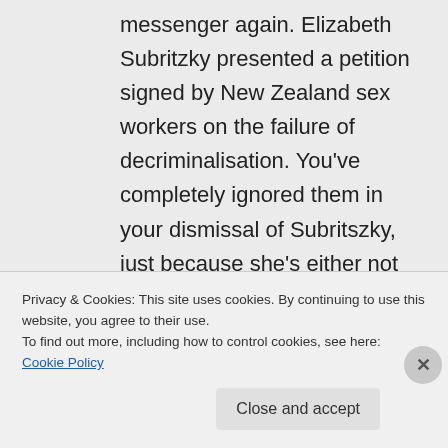messenger again. Elizabeth Subritzky presented a petition signed by New Zealand sex workers on the failure of decriminalisation. You've completely ignored them in your dismissal of Subritszky, just because she's either not the right religion, or any religion at all. What makes these 'sex workers' not worth listening to?
Privacy & Cookies: This site uses cookies. By continuing to use this website, you agree to their use.
To find out more, including how to control cookies, see here: Cookie Policy